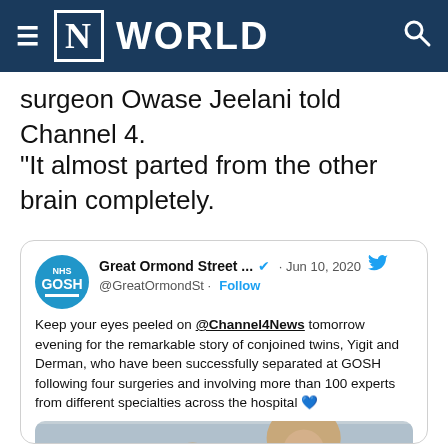≡ [N] WORLD
surgeon Owase Jeelani told Channel 4.
"It almost parted from the other brain completely.
[Figure (screenshot): Embedded tweet from Great Ormond Street @GreatOrmondSt dated Jun 10, 2020 with NHS GOSH logo and Twitter bird icon. Tweet text: Keep your eyes peeled on @Channel4News tomorrow evening for the remarkable story of conjoined twins, Yigit and Derman, who have been successfully separated at GOSH following four surgeries and involving more than 100 experts from different specialties across the hospital 💙. Below the tweet text is a partial photo of people.]